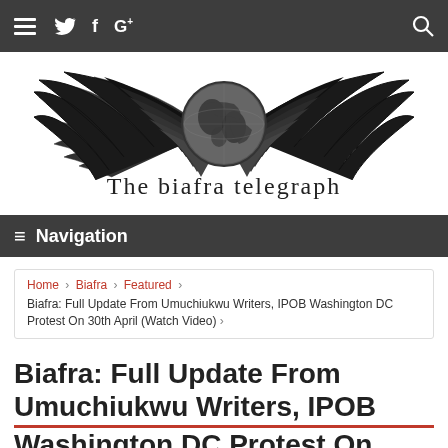≡ Twitter Facebook Google+ [search]
[Figure (logo): The Biafra Telegraph logo: eagle wings spread wide with a globe in the center, text 'The biafra telegraph' below]
≡ Navigation
Home > Biafra > Featured > Biafra: Full Update From Umuchiukwu Writers, IPOB Washington DC Protest On 30th April (Watch Video) >
Biafra: Full Update From Umuchiukwu Writers, IPOB Washington DC Protest On 30th